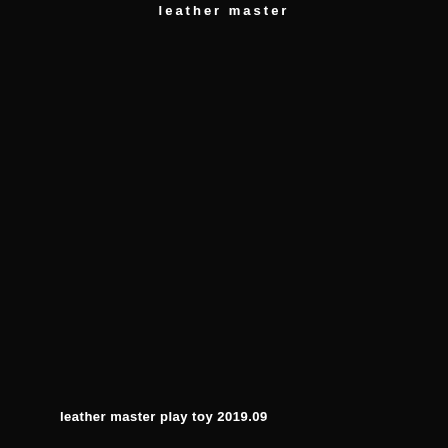leather master
leather master play toy 2019.09